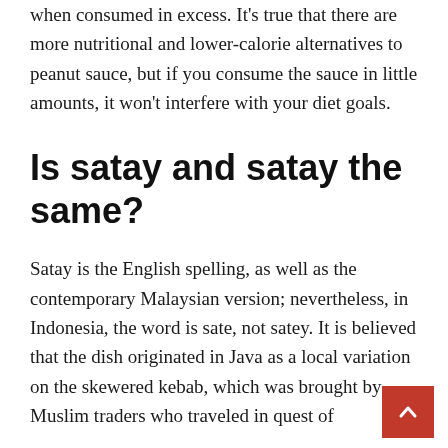when consumed in excess. It's true that there are more nutritional and lower-calorie alternatives to peanut sauce, but if you consume the sauce in little amounts, it won't interfere with your diet goals.
Is satay and satay the same?
Satay is the English spelling, as well as the contemporary Malaysian version; nevertheless, in Indonesia, the word is sate, not satey. It is believed that the dish originated in Java as a local variation on the skewered kebab, which was brought by Muslim traders who traveled in quest of